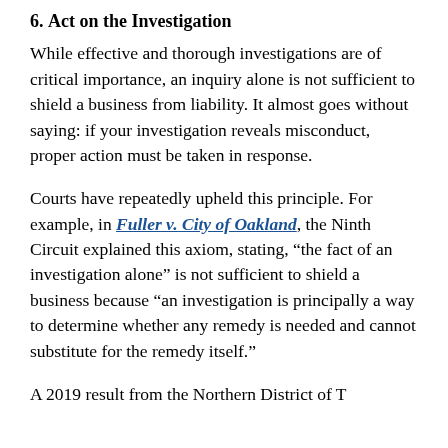6. Act on the Investigation
While effective and thorough investigations are of critical importance, an inquiry alone is not sufficient to shield a business from liability. It almost goes without saying: if your investigation reveals misconduct, proper action must be taken in response.
Courts have repeatedly upheld this principle. For example, in Fuller v. City of Oakland, the Ninth Circuit explained this axiom, stating, “the fact of an investigation alone” is not sufficient to shield a business because “an investigation is principally a way to determine whether any remedy is needed and cannot substitute for the remedy itself.”
A 2019 result from the Northern District of T…